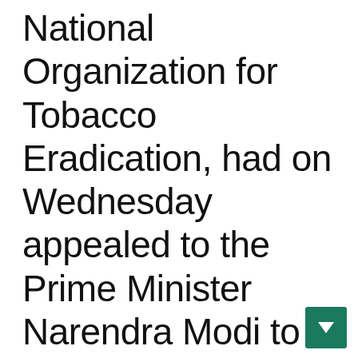National Organization for Tobacco Eradication, had on Wednesday appealed to the Prime Minister Narendra Modi to strip Bollywood actors Ajay Devgn, Akshay Kumar, Amitabh